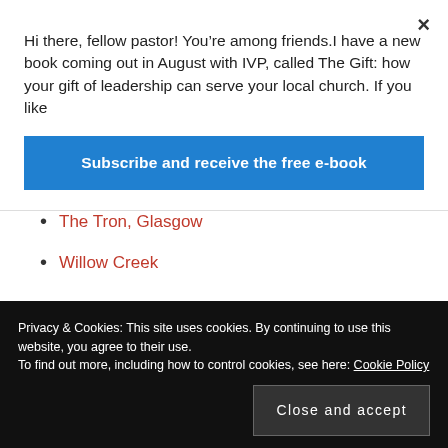Hi there, fellow pastor! You’re among friends.I have a new book coming out in August with IVP, called The Gift: how your gift of leadership can serve your local church. If you like
Subscribe and receive the free e-book
The Tron, Glasgow
Willow Creek
EVANGELISM
Privacy & Cookies: This site uses cookies. By continuing to use this website, you agree to their use.
To find out more, including how to control cookies, see here: Cookie Policy
Close and accept